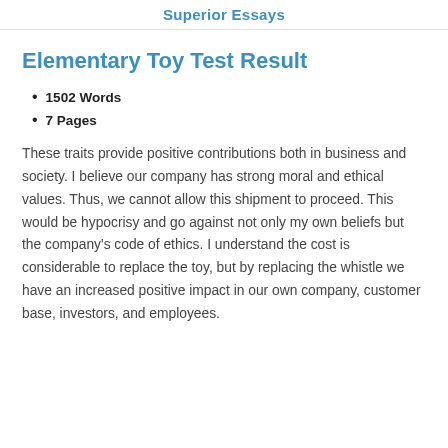Superior Essays
Elementary Toy Test Result
1502 Words
7 Pages
These traits provide positive contributions both in business and society. I believe our company has strong moral and ethical values. Thus, we cannot allow this shipment to proceed. This would be hypocrisy and go against not only my own beliefs but the company's code of ethics. I understand the cost is considerable to replace the toy, but by replacing the whistle we have an increased positive impact in our own company, customer base, investors, and employees.